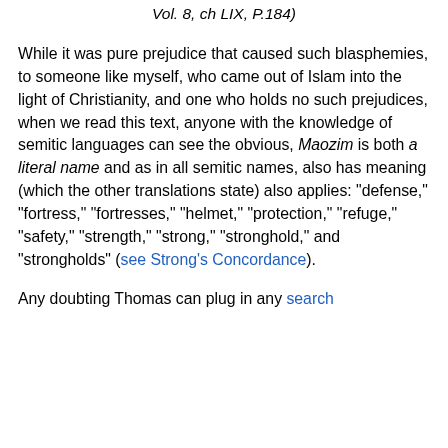Vol. 8, ch LIX, P.184)
While it was pure prejudice that caused such blasphemies, to someone like myself, who came out of Islam into the light of Christianity, and one who holds no such prejudices, when we read this text, anyone with the knowledge of semitic languages can see the obvious, Maozim is both a literal name and as in all semitic names, also has meaning (which the other translations state) also applies: “defense,” “fortress,” “fortresses,” “helmet,” “protection,” “refuge,” “safety,” “strength,” “strong,” “stronghold,” and “strongholds” (see Strong’s Concordance).
Any doubting Thomas can plug in any search